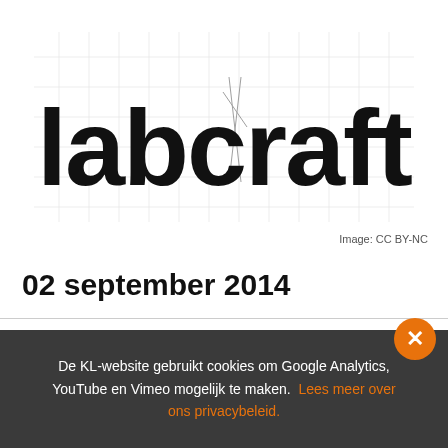[Figure (logo): Labcraft logo with grid/construction lines in background, large bold text reading 'labcraft' with geometric design marks]
Image: CC BY-NC
02 september 2014
De KL-website gebruikt cookies om Google Analytics, YouTube en Vimeo mogelijk te maken. Lees meer over ons privacybeleid.